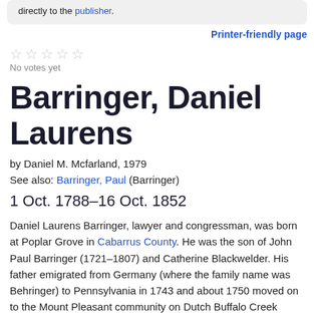directly to the publisher.
Printer-friendly page
No votes yet
Barringer, Daniel Laurens
by Daniel M. Mcfarland, 1979
See also: Barringer, Paul (Barringer)
1 Oct. 1788–16 Oct. 1852
Daniel Laurens Barringer, lawyer and congressman, was born at Poplar Grove in Cabarrus County. He was the son of John Paul Barringer (1721–1807) and Catherine Blackwelder. His father emigrated from Germany (where the family name was Behringer) to Pennsylvania in 1743 and about 1750 moved on to the Mount Pleasant community on Dutch Buffalo Creek (near the later